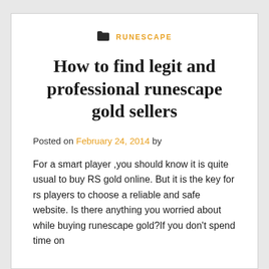RUNESCAPE
How to find legit and professional runescape gold sellers
Posted on February 24, 2014 by
For a smart player ,you should know it is quite usual to buy RS gold online. But it is the key for rs players to choose a reliable and safe website. Is there anything you worried about while buying runescape gold?If you don't spend time on